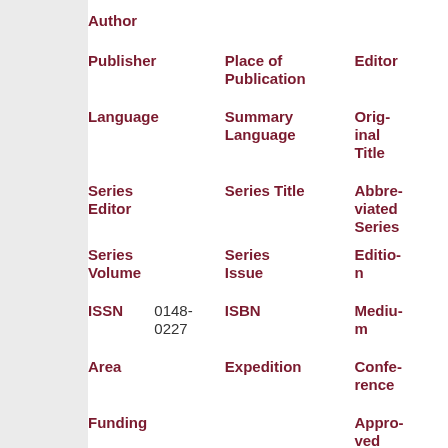| Author |  |  |
| Publisher | Place of Publication | Editor |
| Language | Summary Language | Original Title |
| Series Editor | Series Title | Abbreviated Series |
| Series Volume | Series Issue | Edition |
| ISSN | 0148-0227 | ISBN |  | Medium |
| Area | Expedition | Conference |
| Funding |  | Approved |
| Call | COAPS @ mfield @ | Serial |